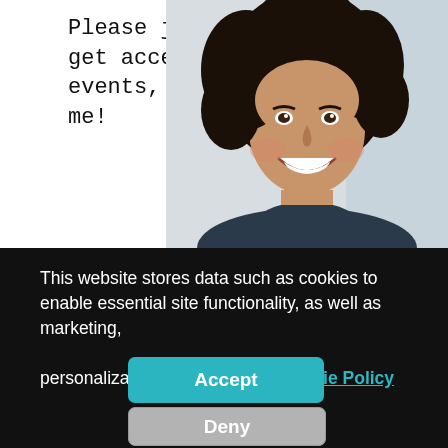Please join the list to get access to updates, events, and connect with me!
[Figure (photo): Photo of a smiling woman with curly dark hair, positioned on the right side of the upper half of the page]
This website stores data such as cookies to enable essential site functionality, as well as marketing, personalization, and analytics. Cookie Policy
Accept
Deny